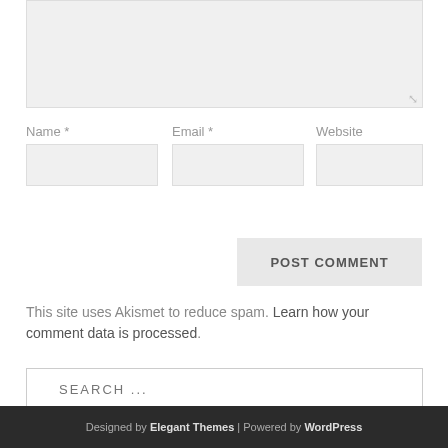[Figure (screenshot): Comment form textarea (greyed out, resizable)]
Name *
Email *
Website
POST COMMENT
This site uses Akismet to reduce spam. Learn how your comment data is processed.
SEARCH ...
Designed by Elegant Themes | Powered by WordPress